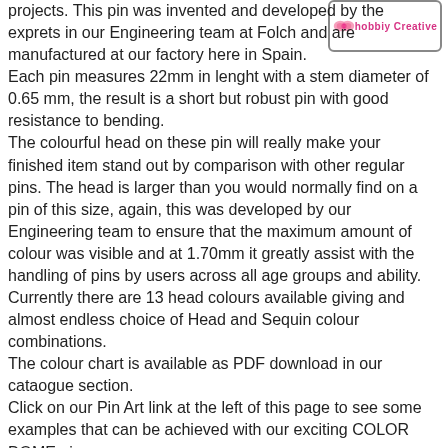[Figure (logo): hobbycreative logo with pink ribbon/bow icon inside a rounded rectangle border]
projects. This pin was invented and developed by the exprets in our Engineering team at Folch and are manufactured at our factory here in Spain.
Each pin measures 22mm in lenght with a stem diameter of 0.65 mm, the result is a short but robust pin with good resistance to bending.
The colourful head on these pin will really make your finished item stand out by comparison with other regular pins. The head is larger than you would normally find on a pin of this size, again, this was developed by our Engineering team to ensure that the maximum amount of colour was visible and at 1.70mm it greatly assist with the handling of pins by users across all age groups and ability.
Currently there are 13 head colours available giving and almost endless choice of Head and Sequin colour combinations.
The colour chart is available as PDF download in our cataogue section.
Click on our Pin Art link at the left of this page to see some examples that can be achieved with our exciting COLOR DOME pins.